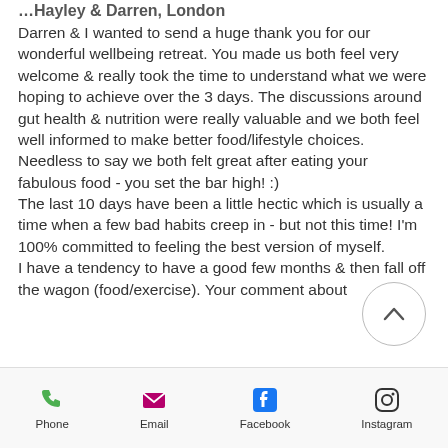…Hayley & Darren, London
Darren & I wanted to send a huge thank you for our wonderful wellbeing retreat. You made us both feel very welcome & really took the time to understand what we were hoping to achieve over the 3 days. The discussions around gut health & nutrition were really valuable and we both feel well informed to make better food/lifestyle choices. Needless to say we both felt great after eating your fabulous food - you set the bar high! :)
The last 10 days have been a little hectic which is usually a time when a few bad habits creep in - but not this time! I'm 100% committed to feeling the best version of myself.
I have a tendency to have a good few months & then fall off the wagon (food/exercise). Your comment about
Phone  Email  Facebook  Instagram